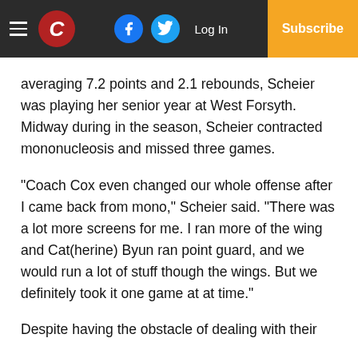C | Log In | Subscribe
averaging 7.2 points and 2.1 rebounds, Scheier was playing her senior year at West Forsyth. Midway during in the season, Scheier contracted mononucleosis and missed three games.
“Coach Cox even changed our whole offense after I came back from mono,” Scheier said. “There was a lot more screens for me. I ran more of the wing and Cat(herine) Byun ran point guard, and we would run a lot of stuff though the wings. But we definitely took it one game at at time.”
Despite having the obstacle of dealing with their